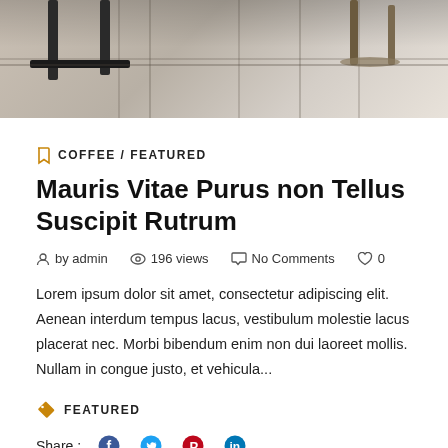[Figure (photo): Top portion of an outdoor patio or terrace with large stone/concrete tile flooring, furniture legs visible at top left and a chair/stool visible at top right.]
COFFEE / FEATURED
Mauris Vitae Purus non Tellus Suscipit Rutrum
by admin   196 views   No Comments   0
Lorem ipsum dolor sit amet, consectetur adipiscing elit. Aenean interdum tempus lacus, vestibulum molestie lacus placerat nec. Morbi bibendum enim non dui laoreet mollis. Nullam in congue justo, et vehicula...
FEATURED
Share :